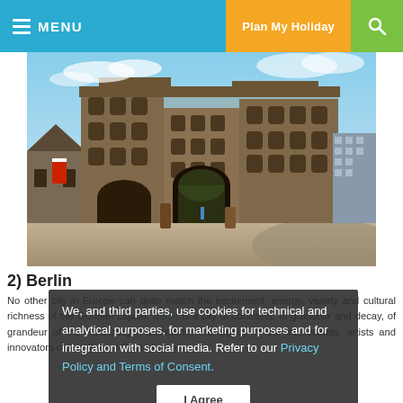MENU | Plan My Holiday | [search icon]
[Figure (photo): Ancient Roman gateway (Porta Nigra) photographed in HDR style, showing large stone arched gate structure with multiple stories of arched windows, surrounded by a plaza with modern buildings visible on the right side.]
2) Berlin
No other city in Europe can quite match the excitement, energy, variety and cultural richness of the German capital. Berlin is a city of contrasts, of grandeur and decay, of the Reichstag (Parliament), the legacy of the intellectuals, artists and innovators of the Weimar Republic and
We, and third parties, use cookies for technical and analytical purposes, for marketing purposes and for integration with social media. Refer to our Privacy Policy and Terms of Consent.
I Agree